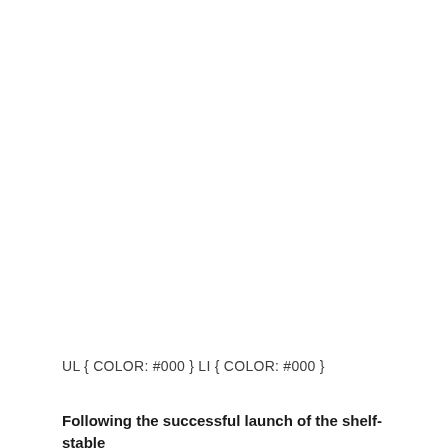UL { COLOR: #000 } LI { COLOR: #000 }
Following the successful launch of the shelf-stable